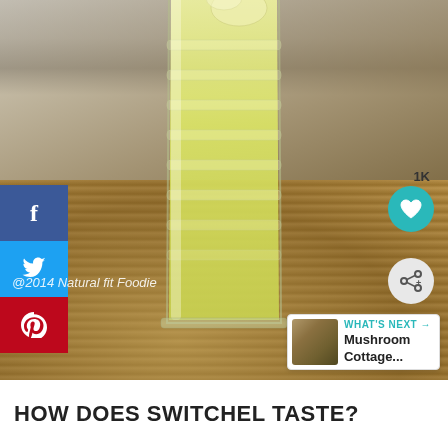[Figure (photo): A ribbed glass filled with yellow-green switchel drink, sitting on a burlap cloth. Social media share buttons (Facebook, Twitter, Pinterest) on the left. Heart and share icons on the right side. A 'What's Next' widget in the bottom right showing 'Mushroom Cottage...' Watermark reads '@2014 Natural fit Foodie'.]
HOW DOES SWITCHEL TASTE?